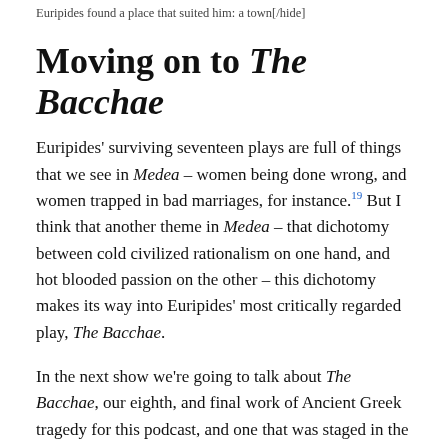Euripides found a place that suited him: a town[/hide]
Moving on to The Bacchae
Euripides' surviving seventeen plays are full of things that we see in Medea – women being done wrong, and women trapped in bad marriages, for instance.19 But I think that another theme in Medea – that dichotomy between cold civilized rationalism on one hand, and hot blooded passion on the other – this dichotomy makes its way into Euripides' most critically regarded play, The Bacchae.
In the next show we're going to talk about The Bacchae, our eighth, and final work of Ancient Greek tragedy for this podcast, and one that was staged in the last years in the Peloponnesian War. The Bacchae is another dark and violent story, a tale about religious cults that were emerging as the 400s gave way to the 300s. The Bacchae depicts a real historical moment, in which the followers and evangelists of the cult